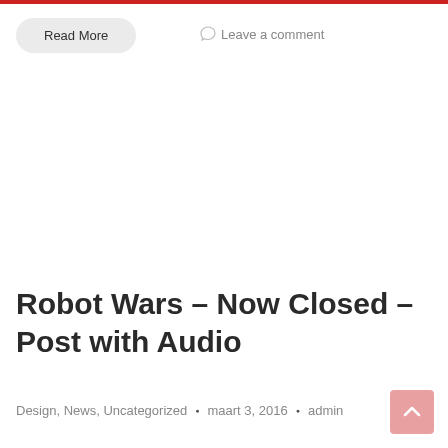Read More
Leave a comment
Robot Wars – Now Closed – Post with Audio
Design, News, Uncategorized • maart 3, 2016 • admin